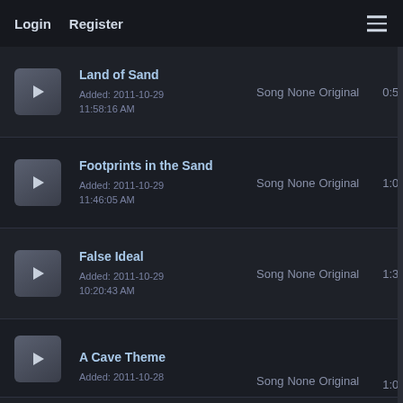Login  Register  ☰
|  | Title / Added | Type | Votes | Version | Duration |
| --- | --- | --- | --- | --- | --- |
| ▶ | Land of Sand
Added: 2011-10-29 11:58:16 AM | Song | None | Original | 0:5 |
| ▶ | Footprints in the Sand
Added: 2011-10-29 11:46:05 AM | Song | None | Original | 1:0 |
| ▶ | False Ideal
Added: 2011-10-29 10:20:43 AM | Song | None | Original | 1:3 |
| ▶ | A Cave Theme
Added: 2011-10-28 | Song | None | Original | 1:0 |